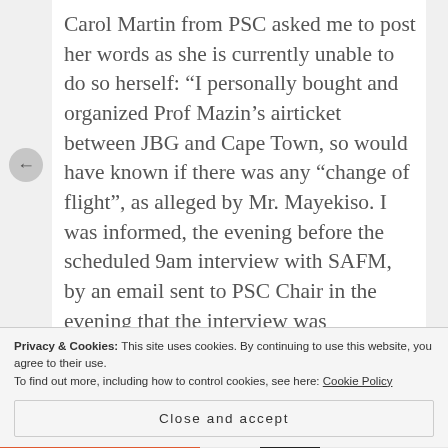Carol Martin from PSC asked me to post her words as she is currently unable to do so herself: “I personally bought and organized Prof Mazin’s airticket between JBG and Cape Town, so would have known if there was any “change of flight”, as alleged by Mr. Mayekiso. I was informed, the evening before the scheduled 9am interview with SAFM, by an email sent to PSC Chair in the evening that the interview was cancelled. I received that email earlier in the morning, and telephoned Terry CB at around 7:30am to notify him of this cancellation. He and
Privacy & Cookies: This site uses cookies. By continuing to use this website, you agree to their use.
To find out more, including how to control cookies, see here: Cookie Policy
Close and accept